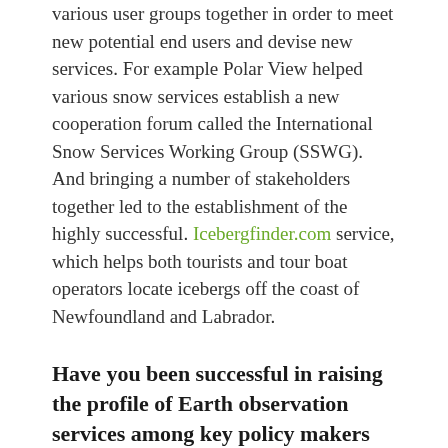various user groups together in order to meet new potential end users and devise new services. For example Polar View helped various snow services establish a new cooperation forum called the International Snow Services Working Group (SSWG). And bringing a number of stakeholders together led to the establishment of the highly successful. Icebergfinder.com service, which helps both tourists and tour boat operators locate icebergs off the coast of Newfoundland and Labrador.
Have you been successful in raising the profile of Earth observation services among key policy makers and helping them understand the importance of the kinds of services Polar View provides?
This has been a goal from the very beginning. However since we focused so much on delivering